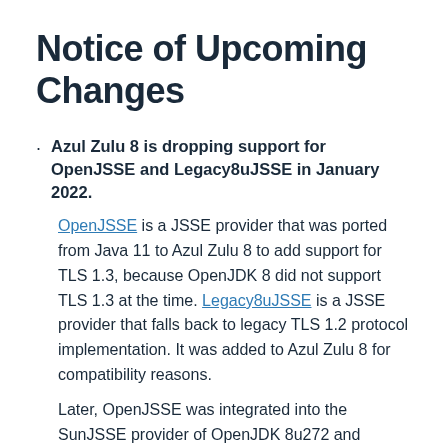Notice of Upcoming Changes
Azul Zulu 8 is dropping support for OpenJSSE and Legacy8uJSSE in January 2022.
OpenJSSE is a JSSE provider that was ported from Java 11 to Azul Zulu 8 to add support for TLS 1.3, because OpenJDK 8 did not support TLS 1.3 at the time. Legacy8uJSSE is a JSSE provider that falls back to legacy TLS 1.2 protocol implementation. It was added to Azul Zulu 8 for compatibility reasons.
Later, OpenJSSE was integrated into the SunJSSE provider of OpenJDK 8u272 and became part of Java SE 8 specification.
Both OpenJSSE and Legacy8uJSSE are being...